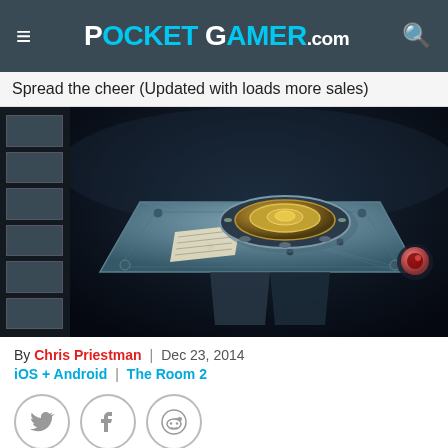POCKET GAMER.com
Spread the cheer (Updated with loads more sales)
[Figure (screenshot): Screenshot from The Room 2 mobile game showing an ornate puzzle box with a circular brass mechanism on a stone table, with a small note/card visible, set in a dark atmospheric environment. Sidebar shows thumbnail navigation strips on the left.]
By Chris Priestman | Dec 23, 2014
iOS + Android | The Room 2
[Figure (other): Social sharing buttons: Twitter, Facebook, Reddit]
ADVERTISEMENT